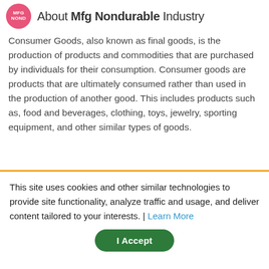About Mfg Nondurable Industry
Consumer Goods, also known as final goods, is the production of products and commodities that are purchased by individuals for their consumption. Consumer goods are products that are ultimately consumed rather than used in the production of another good. This includes products such as, food and beverages, clothing, toys, jewelry, sporting equipment, and other similar types of goods.
This site uses cookies and other similar technologies to provide site functionality, analyze traffic and usage, and deliver content tailored to your interests. | Learn More
I Accept